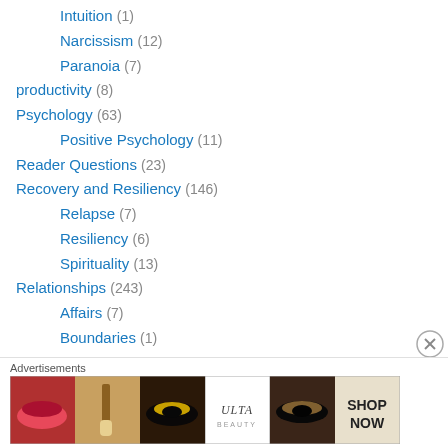Intuition (1)
Narcissism (12)
Paranoia (7)
productivity (8)
Psychology (63)
Positive Psychology (11)
Reader Questions (23)
Recovery and Resiliency (146)
Relapse (7)
Resiliency (6)
Spirituality (13)
Relationships (243)
Affairs (7)
Boundaries (1)
Communication (16)
Couples Therapy (32)
Family Problems (31)
Advertisements
[Figure (photo): Ulta beauty advertisement banner showing makeup images including lips, brush, eye, Ulta logo, smoky eye, with SHOP NOW text]